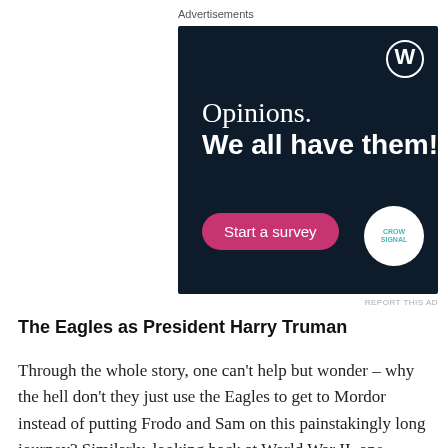Advertisements
[Figure (other): WordPress/Crowdsignal advertisement banner with dark navy background. Text reads 'Opinions. We all have them!' with a pink 'Start a survey' button and Crowdsignal logo circle.]
REPORT THIS AD
The Eagles as President Harry Truman
Through the whole story, one can't help but wonder – why the hell don't they just use the Eagles to get to Mordor instead of putting Frodo and Sam on this painstakingly long journey? Similarly, looking back at World War II, one